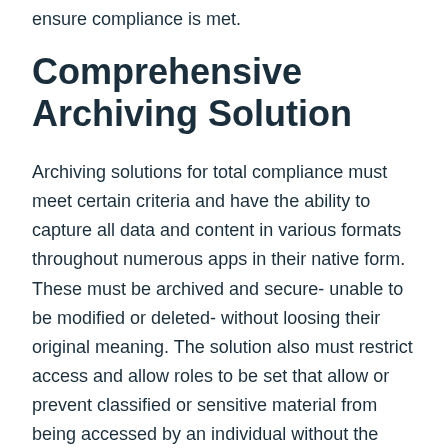ensure compliance is met.
Comprehensive Archiving Solution
Archiving solutions for total compliance must meet certain criteria and have the ability to capture all data and content in various formats throughout numerous apps in their native form. These must be archived and secure- unable to be modified or deleted- without loosing their original meaning. The solution also must restrict access and allow roles to be set that allow or prevent classified or sensitive material from being accessed by an individual without the permissions to do so. Those employees responsible for compliance within an organization need a solution that allows them to